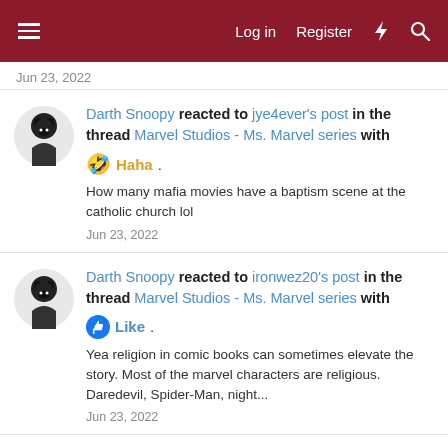Log in  Register
Jun 23, 2022
Darth Snoopy reacted to jye4ever's post in the thread Marvel Studios - Ms. Marvel series with 🤣 Haha.
How many mafia movies have a baptism scene at the catholic church lol
Jun 23, 2022
Darth Snoopy reacted to ironwez20's post in the thread Marvel Studios - Ms. Marvel series with 👍 Like.
Yea religion in comic books can sometimes elevate the story. Most of the marvel characters are religious. Daredevil, Spider-Man, night...
Jun 23, 2022
Darth Snoopy reacted to e30ernest's post in the thread Marvel Studios - Ms. Marvel series with